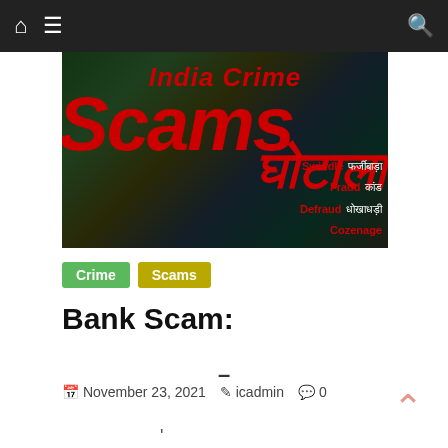Navigation bar with home, menu, and search icons
[Figure (illustration): India Crime Scams banner with large red text 'India Crime' and 'Scams' in italic bold, Hindi text 'घोटाला', and keywords: Swindle, फर्जीबाड़ा, Fraud, कांड, Defraud, धोखाधड़ी, Cozenage on dark background]
Crime
Scams
Bank Scam:
–
November 23, 2021   icadmin   0